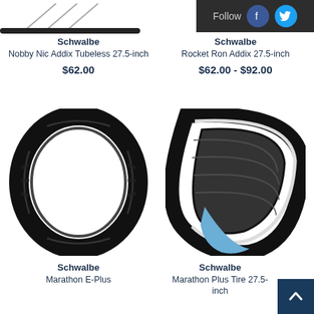[Figure (photo): Partial bicycle wheel/tire image top-left]
Schwalbe
Nobby Nic Addix Tubeless 27.5-inch
$62.00
Schwalbe
Rocket Ron Addix 27.5-inch
$62.00 - $92.00
[Figure (photo): Schwalbe Marathon E-Plus bicycle tire, black, viewed from the side]
Schwalbe
Marathon E-Plus
[Figure (photo): Schwalbe Marathon Plus Tire 27.5-inch bicycle tire with reflective stripe and blue sidewall accent]
Schwalbe
Marathon Plus Tire 27.5-inch